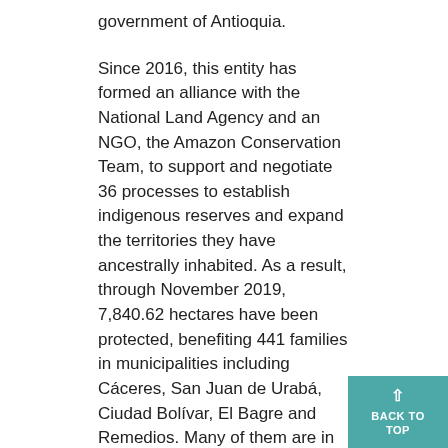government of Antioquia.
Since 2016, this entity has formed an alliance with the National Land Agency and an NGO, the Amazon Conservation Team, to support and negotiate 36 processes to establish indigenous reserves and expand the territories they have ancestrally inhabited. As a result, through November 2019, 7,840.62 hectares have been protected, benefiting 441 families in municipalities including Cáceres, San Juan de Urabá, Ciudad Bolívar, El Bagre and Remedios. Many of them are in areas with mining activity and land disputes between armed groups.
As Llanedt Martinez, director of the Indigenous Management Unit of Antioquia, explains, ˝Having a titled reserve is the fundamental basis for the development of indigenous communities. All the lasting processes of improvement of their quality of life—including the generation of housing, education, the development of their own